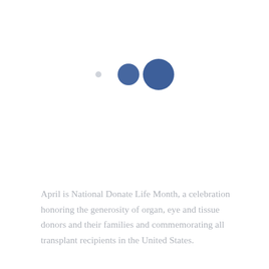[Figure (infographic): Three circles of increasing size arranged horizontally: a small light gray circle, a medium steel blue circle, and a large steel blue circle, suggesting a loading or progression indicator.]
April is National Donate Life Month, a celebration honoring the generosity of organ, eye and tissue donors and their families and commemorating all transplant recipients in the United States.